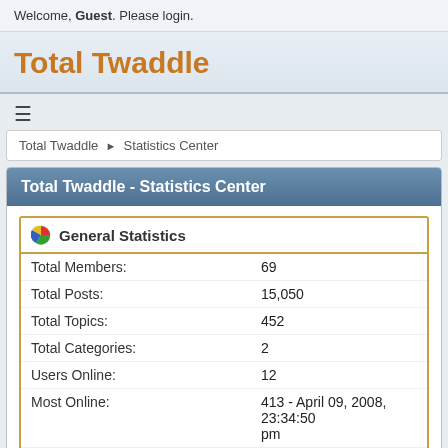Welcome, Guest. Please login.
Total Twaddle
≡
Total Twaddle ▶ Statistics Center
Total Twaddle - Statistics Center
General Statistics
| Label | Value |
| --- | --- |
| Total Members: | 69 |
| Total Posts: | 15,050 |
| Total Topics: | 452 |
| Total Categories: | 2 |
| Users Online: | 12 |
| Most Online: | 413 - April 09, 2008, 23:34:50 pm |
| Online today: | 57 |